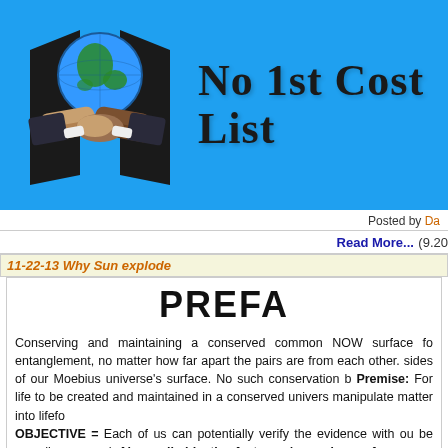[Figure (logo): No 1st Cost List website header banner with blue background, handshake logo with globe, and site title text 'No 1st Cost List']
Posted by Da
Read More... (9.20
11-22-13 Why Sun explode
PREFA
Conserving and maintaining a conserved common NOW surface fo entanglement, no matter how far apart the pairs are from each other. sides of our Moebius universe's surface. No such conservation b Premise: For life to be created and maintained in a conserved univers manipulate matter into lifefo OBJECTIVE = Each of us can potentially verify the evidence with ou be seen 'in common'. Above all objective facts are 'agreed upon fa measurements. Without trust, objective f